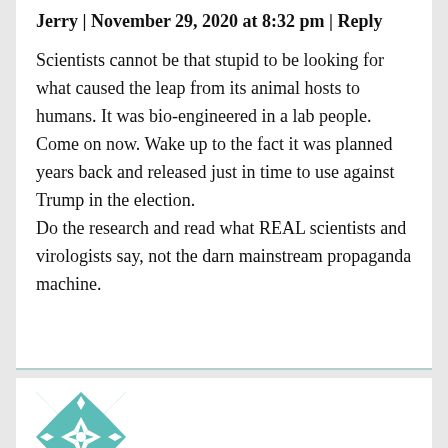Jerry | November 29, 2020 at 8:32 pm | Reply
Scientists cannot be that stupid to be looking for what caused the leap from its animal hosts to humans. It was bio-engineered in a lab people. Come on now. Wake up to the fact it was planned years back and released just in time to use against Trump in the election.
Do the research and read what REAL scientists and virologists say, not the darn mainstream propaganda machine.
[Figure (illustration): Teal and white quilt-pattern avatar icon with geometric star/pinwheel design]